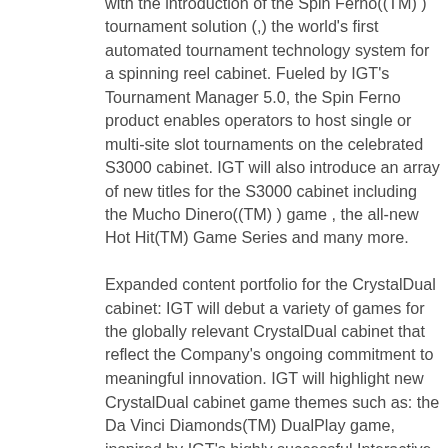with the introduction of the Spin Ferno((TM) ) tournament solution (,) the world's first automated tournament technology system for a spinning reel cabinet. Fueled by IGT's Tournament Manager 5.0, the Spin Ferno product enables operators to host single or multi-site slot tournaments on the celebrated S3000 cabinet. IGT will also introduce an array of new titles for the S3000 cabinet including the Mucho Dinero((TM) ) game , the all-new Hot Hit(TM) Game Series and many more. Expanded content portfolio for the CrystalDual cabinet: IGT will debut a variety of games for the globally relevant CrystalDual cabinet that reflect the Company's ongoing commitment to meaningful innovation. IGT will highlight new CrystalDual cabinet game themes such as: the Da Vinci Diamonds(TM) DualPlay game, inspired by IGT's highly successful Interactive title by the same name, the Mammoth Reels(TM) game series, the Age of Aurora(TM) game series and the Bubble Craze(TM) game , a unique game that first launched as an Interactive title and features colorful bubbles